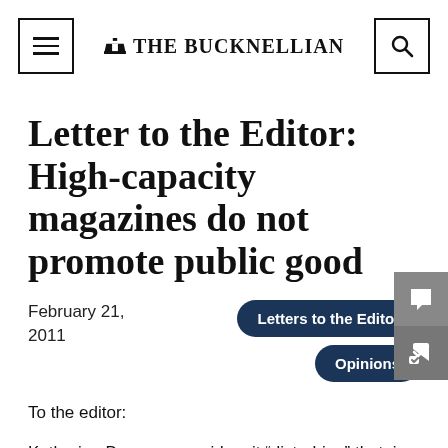THE BUCKNELLIAN
Letter to the Editor: High-capacity magazines do not promote public good
February 21, 2011
Letters to the Editor
Opinions
To the editor:
Katherine Bourque considers it “disturbing” that, in a university student newspaper, one would criticize